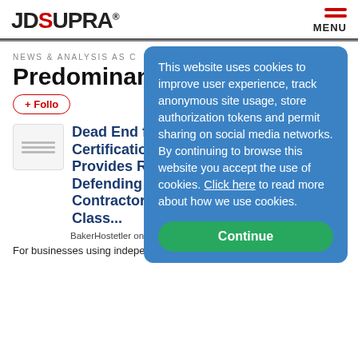JDSUPRA® MENU
NEWS & ANALYSIS AS C...
Predominance
+ Follow
Dead End for Cla... Certification? N... Provides Roadm... Defending Indep... Contractor Misc... Class...
BakerHostetler on 7/11/2022
For businesses using independent contractor vendors,
This website uses cookies to improve user experience, track anonymous site usage, store authorization tokens and permit sharing on social media networks. By continuing to browse this website you accept the use of cookies. Click here to read more about how we use cookies.
Continue